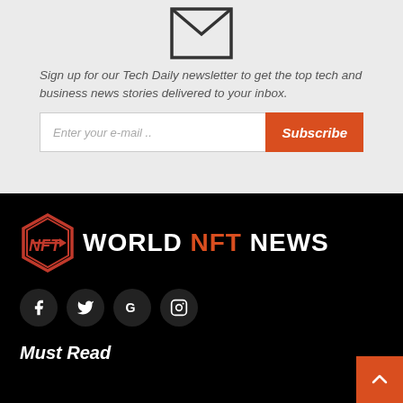[Figure (illustration): Envelope icon — open envelope outline in dark gray/black]
Sign up for our Tech Daily newsletter to get the top tech and business news stories delivered to your inbox.
Enter your e-mail ..
Subscribe
[Figure (logo): World NFT News logo: hexagonal red NFT icon on left, text WORLD NFT NEWS where NFT is in red and WORLD/NEWS in white, on black background]
[Figure (other): Social media icons: Facebook (f), Twitter/X (bird), Google (G), Instagram (camera) — dark circular buttons]
Must Read